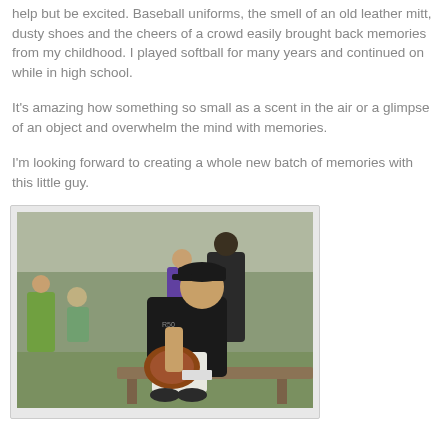help but be excited. Baseball uniforms, the smell of an old leather mitt, dusty shoes and the cheers of a crowd easily brought back memories from my childhood. I played softball for many years and continued on while in high school.
It's amazing how something so small as a scent in the air or a glimpse of an object and overwhelm the mind with memories.
I'm looking forward to creating a whole new batch of memories with this little guy.
[Figure (photo): A young boy in a black baseball uniform and cap sitting on what appears to be a bench, looking down, holding a baseball glove. Other children and adults visible in the background at an outdoor baseball/softball field.]